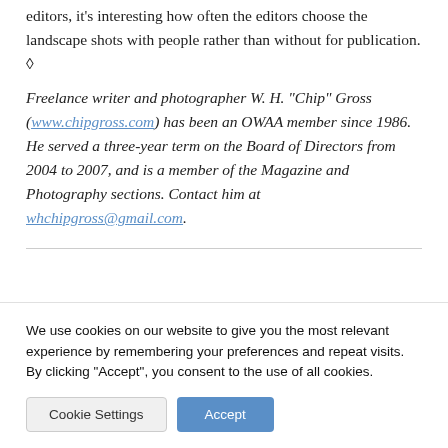and without people. And when I send those images to editors, it's interesting how often the editors choose the landscape shots with people rather than without for publication. ◊
Freelance writer and photographer W. H. "Chip" Gross (www.chipgross.com) has been an OWAA member since 1986. He served a three-year term on the Board of Directors from 2004 to 2007, and is a member of the Magazine and Photography sections. Contact him at whchipgross@gmail.com.
We use cookies on our website to give you the most relevant experience by remembering your preferences and repeat visits. By clicking "Accept", you consent to the use of all cookies.